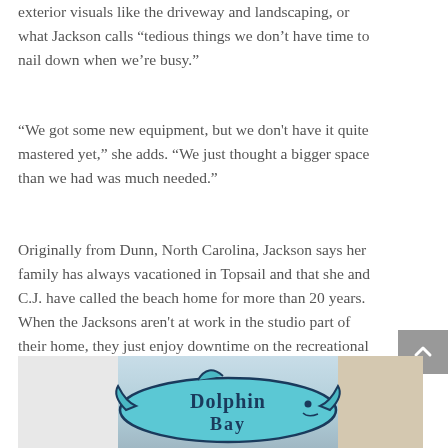exterior visuals like the driveway and landscaping, or what Jackson calls “tedious things we don’t have time to nail down when we’re busy.”
“We got some new equipment, but we don't have it quite mastered yet,” she adds. “We just thought a bigger space than we had was much needed.”
Originally from Dunn, North Carolina, Jackson says her family has always vacationed in Topsail and that she and C.J. have called the beach home for more than 20 years. When the Jacksons aren't at work in the studio part of their home, they just enjoy downtime on the recreational side of their home.
[Figure (photo): Photo of a decorative wooden sign reading 'Dolphin Bay' with a dolphin figure, against a backdrop of interior doorway and cabinetry.]